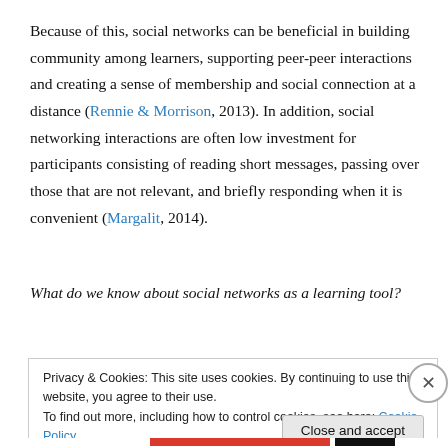Because of this, social networks can be beneficial in building community among learners, supporting peer-peer interactions and creating a sense of membership and social connection at a distance (Rennie & Morrison, 2013). In addition, social networking interactions are often low investment for participants consisting of reading short messages, passing over those that are not relevant, and briefly responding when it is convenient (Margalit, 2014).
What do we know about social networks as a learning tool?
Privacy & Cookies: This site uses cookies. By continuing to use this website, you agree to their use. To find out more, including how to control cookies, see here: Cookie Policy